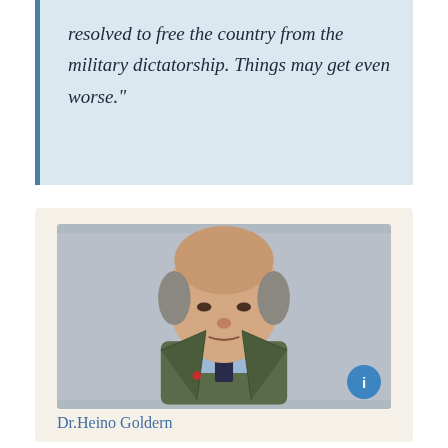resolved to free the country from the military dictatorship. Things may get even worse."
[Figure (photo): Portrait photo of Dr. Heino Goldern, an elderly man wearing a dark olive/green blazer, light blue dress shirt, and dark tie with a red lapel pin, photographed against a grey background.]
Dr.Heino Goldern